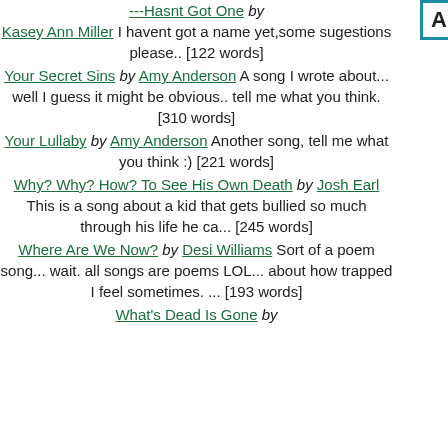April 2005
---Hasnt Got One by Kasey Ann Miller I havent got a name yet,some sugestions please.. [122 words]
Your Secret Sins by Amy Anderson A song I wrote about... well I guess it might be obvious.. tell me what you think. [310 words]
Your Lullaby by Amy Anderson Another song, tell me what you think :) [221 words]
Why? Why? How? To See His Own Death by Josh Earl This is a song about a kid that gets bullied so much through his life he ca... [245 words]
Where Are We Now? by Desi Williams Sort of a poem song... wait. all songs are poems LOL... about how trapped I feel sometimes. ... [193 words]
What's Dead Is Gone by